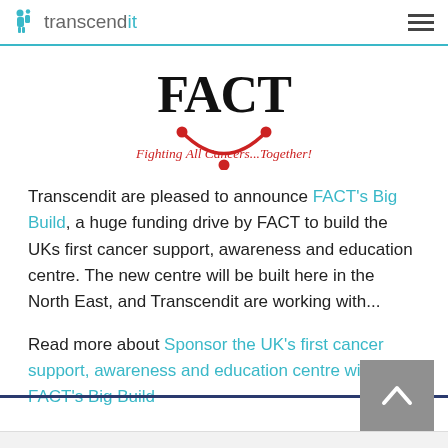transcendit
[Figure (logo): FACT logo — black serif text 'FACT' with a red circular arc and red dots underneath, with tagline 'Fighting All Cancers...Together!' in red/pink cursive]
Transcendit are pleased to announce FACT's Big Build, a huge funding drive by FACT to build the UKs first cancer support, awareness and education centre. The new centre will be built here in the North East, and Transcendit are working with...
Read more about Sponsor the UK's first cancer support, awareness and education centre with FACT's Big Build